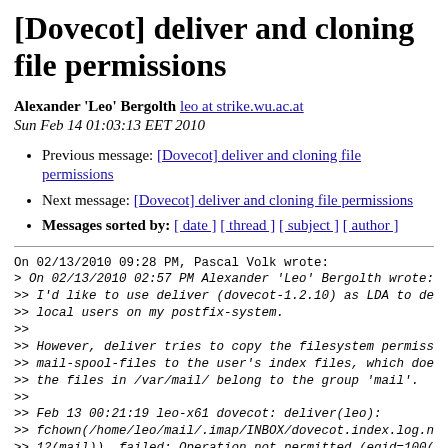[Dovecot] deliver and cloning file permissions
Alexander 'Leo' Bergolth leo at strike.wu.ac.at
Sun Feb 14 01:03:13 EET 2010
Previous message: [Dovecot] deliver and cloning file permissions
Next message: [Dovecot] deliver and cloning file permissions
Messages sorted by: [ date ] [ thread ] [ subject ] [ author ]
On 02/13/2010 09:28 PM, Pascal Volk wrote:
> On 02/13/2010 02:57 PM Alexander 'Leo' Bergolth wrote:
>> I'd like to use deliver (dovecot-1.2.10) as LDA to de.
>> local users on my postfix-system.
>>
>> However, deliver tries to copy the filesystem permiss.
>> mail-spool-files to the user's index files, which does.
>> the files in /var/mail/ belong to the group 'mail'.
>>
>> Feb 13 00:21:19 leo-x61 dovecot: deliver(leo):
>> fchown(/home/leo/mail/.imap/INBOX/dovecot.index.log.ne
>> 12(mail)), failed: Operation not permitted (egid=100(u